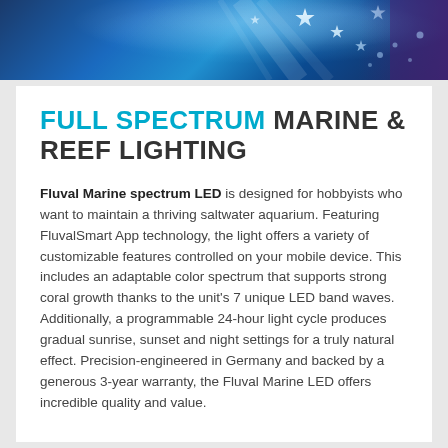[Figure (photo): Blue marine/underwater themed banner header with white star shapes and light rays, coral visible on the right side]
FULL SPECTRUM MARINE & REEF LIGHTING
Fluval Marine spectrum LED is designed for hobbyists who want to maintain a thriving saltwater aquarium. Featuring FluvalSmart App technology, the light offers a variety of customizable features controlled on your mobile device. This includes an adaptable color spectrum that supports strong coral growth thanks to the unit's 7 unique LED band waves. Additionally, a programmable 24-hour light cycle produces gradual sunrise, sunset and night settings for a truly natural effect. Precision-engineered in Germany and backed by a generous 3-year warranty, the Fluval Marine LED offers incredible quality and value.